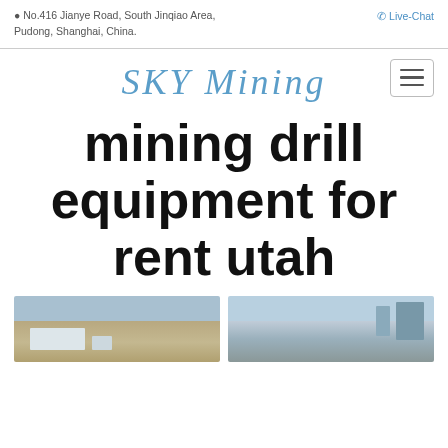No.416 Jianye Road, South Jinqiao Area, Pudong, Shanghai, China.
Live-Chat
SKY Mining
mining drill equipment for rent utah
[Figure (photo): Two industrial / mining facility photos side by side at the bottom of the page.]